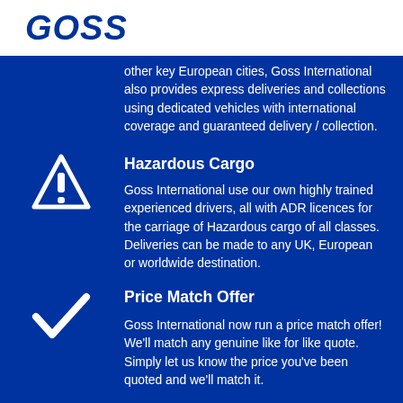GOSS
other key European cities, Goss International also provides express deliveries and collections using dedicated vehicles with international coverage and guaranteed delivery / collection.
Hazardous Cargo
Goss International use our own highly trained experienced drivers, all with ADR licences for the carriage of Hazardous cargo of all classes. Deliveries can be made to any UK, European or worldwide destination.
Price Match Offer
Goss International now run a price match offer! We'll match any genuine like for like quote. Simply let us know the price you've been quoted and we'll match it.